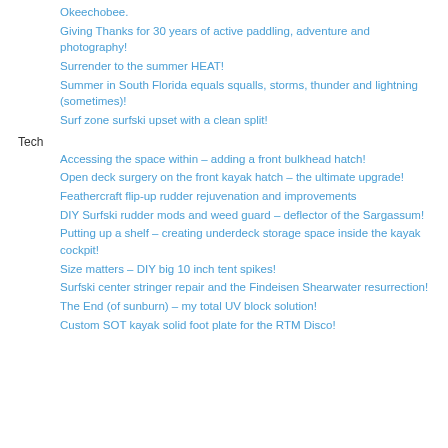Okeechobee.
Giving Thanks for 30 years of active paddling, adventure and photography!
Surrender to the summer HEAT!
Summer in South Florida equals squalls, storms, thunder and lightning (sometimes)!
Surf zone surfski upset with a clean split!
Tech
Accessing the space within – adding a front bulkhead hatch!
Open deck surgery on the front kayak hatch – the ultimate upgrade!
Feathercraft flip-up rudder rejuvenation and improvements
DIY Surfski rudder mods and weed guard – deflector of the Sargassum!
Putting up a shelf – creating underdeck storage space inside the kayak cockpit!
Size matters – DIY big 10 inch tent spikes!
Surfski center stringer repair and the Findeisen Shearwater resurrection!
The End (of sunburn) – my total UV block solution!
Custom SOT kayak solid foot plate for the RTM Disco!